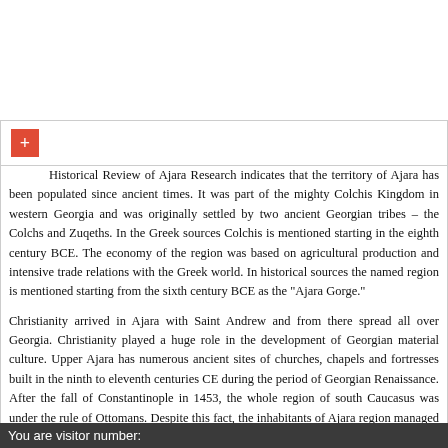[Figure (other): Red plus button icon inside a bordered box container]
Historical Review of Ajara Research indicates that the territory of Ajara has been populated since ancient times. It was part of the mighty Colchis Kingdom in western Georgia and was originally settled by two ancient Georgian tribes – the Colchs and Zuqeths. In the Greek sources Colchis is mentioned starting in the eighth century BCE. The economy of the region was based on agricultural production and intensive trade relations with the Greek world. In historical sources the region is mentioned starting from the sixth century BCE as the "Ajara Gorge."
Christianity arrived in Ajara with Saint Andrew and from there spread all over Georgia. Christianity played a huge role in the development of Georgian material culture. Upper Ajara has numerous ancient sites of churches, chapels and fortresses built in the ninth to eleventh centuries CE during the period of Georgian Renaissance. After the fall of Constantinople in 1453, the whole region of south Caucasus was under the rule of Ottomans. Despite this fact, the inhabitants of Ajara region managed to preserve a great part of their ancient traditions and wine culture. It is remarkable that the viticulture was preserved by the Ajara highlanders as evidenced by the large number of wine pitchers found there. The region is famous today for its unique grape varieties and traditional winemaking techniques. After the fall of the Ottomans, Ajara enjoyed development of capitalist relations which brought new life of the region. Batumi became the historically center in the region because of its...
You are visitor number: